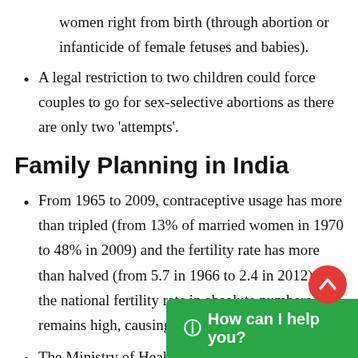women right from birth (through abortion or infanticide of female fetuses and babies).
A legal restriction to two children could force couples to go for sex-selective abortions as there are only two 'attempts'.
Family Planning in India
From 1965 to 2009, contraceptive usage has more than tripled (from 13% of married women in 1970 to 48% in 2009) and the fertility rate has more than halved (from 5.7 in 1966 to 2.4 in 2012), but the national fertility rate in absolute numbers remains high, causing concern for lon
The Ministry of Health and Family Welfare is the